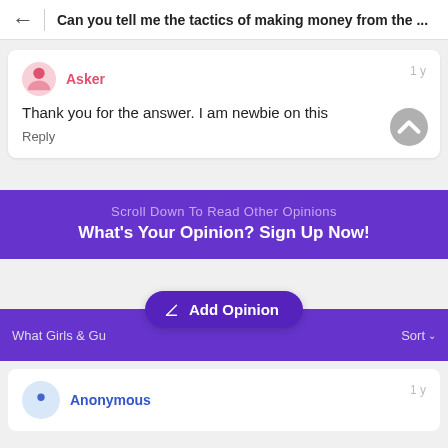Can you tell me the tactics of making money from the ...
Asker
1 y
Thank you for the answer. I am newbie on this
Reply
Scroll Down To Read Other Opinions
What's Your Opinion? Sign Up Now!
What Girls & Gu  Add Opinion  Sort
Anonymous
1 y